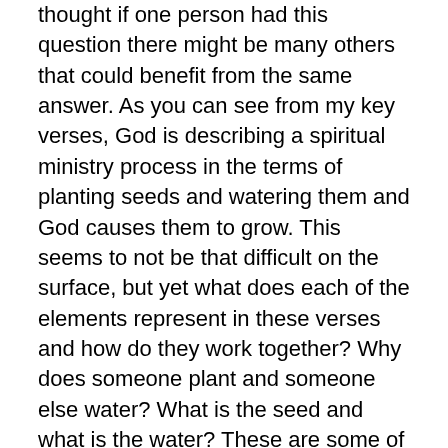thought if one person had this question there might be many others that could benefit from the same answer.  As you can see from my key verses, God is describing a spiritual ministry process in the terms of planting seeds and watering them and God causes them to grow.  This seems to not be that difficult on the surface, but yet what does each of the elements represent in these verses and how do they work together?  Why does someone plant and someone else water?  What is the seed and what is the water?  These are some of the questions that I will attempt to answer in the rest of this lesson.
The Bible describes itself in many fascinating and unique ways that make it a book like no other.   Today I will attempt to address just three of these unique descriptors to allow you to see the Word of God from a new and different perspective.  I will be teaching about seed, water